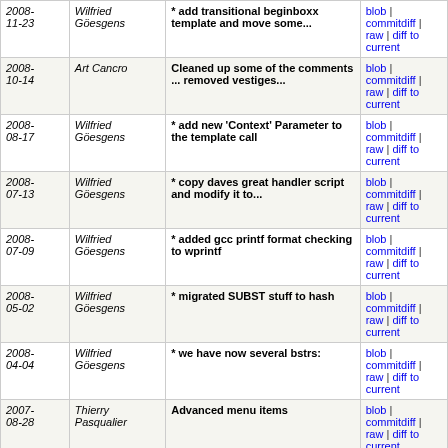| Date | Author | Message | Links |
| --- | --- | --- | --- |
| 2008-11-23 | Wilfried Göesgens | * add transitional beginboxx template and move some... | blob | commitdiff | raw | diff to current |
| 2008-10-14 | Art Cancro | Cleaned up some of the comments ... removed vestiges... | blob | commitdiff | raw | diff to current |
| 2008-08-17 | Wilfried Göesgens | * add new 'Context' Parameter to the template call | blob | commitdiff | raw | diff to current |
| 2008-07-13 | Wilfried Göesgens | * copy daves great handler script and modify it to... | blob | commitdiff | raw | diff to current |
| 2008-07-09 | Wilfried Göesgens | * added gcc printf format checking to wprintf | blob | commitdiff | raw | diff to current |
| 2008-05-02 | Wilfried Göesgens | * migrated SUBST stuff to hash | blob | commitdiff | raw | diff to current |
| 2008-04-04 | Wilfried Göesgens | * we have now several bstrs: | blob | commitdiff | raw | diff to current |
| 2007-08-28 | Thierry Pasqualier | Advanced menu items | blob | commitdiff | raw | diff to current |
| 2007-07-16 | Wilfried Göesgens | * merged in Littlesmiths corrections and suggestions | blob | commitdiff | raw | diff to current |
| 2007-07-12 | Wilfried Göesgens | * Created IsEmptyStr define to be used rather then... | blob | commitdiff | raw | diff to current |
| 2007- | Art Cancro | Nearly all <FORM> blocks now | blob | commitdiff |